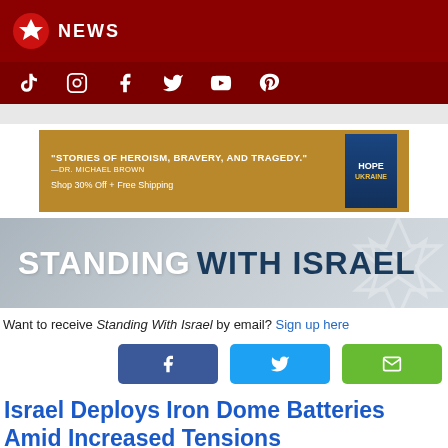NEWS
[Figure (screenshot): Social media icons bar: TikTok, Instagram, Facebook, Twitter, YouTube, Pinterest on dark red background]
[Figure (infographic): Advertisement banner: "STORIES OF HEROISM, BRAVERY, AND TRAGEDY." —DR. MICHAEL BROWN. Shop 30% Off + Free Shipping. Book cover for HOPE UKRAINE shown.]
[Figure (infographic): Standing With Israel banner with Star of David watermark on gray gradient background]
Want to receive Standing With Israel by email? Sign up here
[Figure (screenshot): Share buttons: Facebook (blue), Twitter (cyan), Email (green)]
Israel Deploys Iron Dome Batteries Amid Increased Tensions
6:00AM EST 11/20/2017
INNVision for Israel